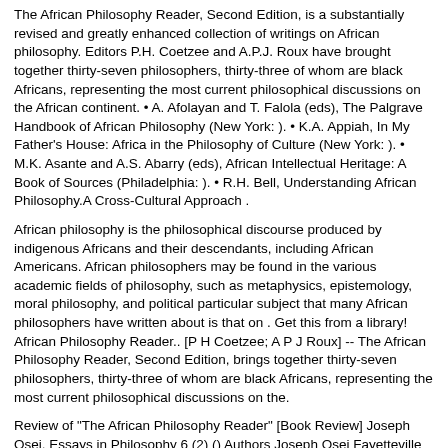The African Philosophy Reader, Second Edition, is a substantially revised and greatly enhanced collection of writings on African philosophy. Editors P.H. Coetzee and A.P.J. Roux have brought together thirty-seven philosophers, thirty-three of whom are black Africans, representing the most current philosophical discussions on the African continent. • A. Afolayan and T. Falola (eds), The Palgrave Handbook of African Philosophy (New York: ). • K.A. Appiah, In My Father's House: Africa in the Philosophy of Culture (New York: ). • M.K. Asante and A.S. Abarry (eds), African Intellectual Heritage: A Book of Sources (Philadelphia: ). • R.H. Bell, Understanding African Philosophy.A Cross-Cultural Approach .
African philosophy is the philosophical discourse produced by indigenous Africans and their descendants, including African Americans. African philosophers may be found in the various academic fields of philosophy, such as metaphysics, epistemology, moral philosophy, and political particular subject that many African philosophers have written about is that on . Get this from a library! African Philosophy Reader.. [P H Coetzee; A P J Roux] -- The African Philosophy Reader, Second Edition, brings together thirty-seven philosophers, thirty-three of whom are black Africans, representing the most current philosophical discussions on the.
Review of "The African Philosophy Reader" [Book Review] Joseph Osei. Essays in Philosophy 6 (2) () Authors Joseph Osei Fayetteville State University Abstract This article has no associated abstract. (fix it) Keywords African Author: Joseph Osei. Books The African Philosophy Reader William King ponders a collection of essays which show the diversity of African philosophy.. A number of years ago, Louis E. Wilson, a former colleague of mine who taught courses in African history, remarked to me that there are no Africans.